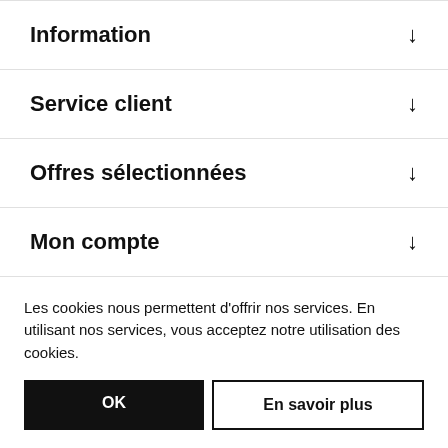Information ↓
Service client ↓
Offres sélectionnées ↓
Mon compte ↓
[Figure (other): Social media icons: Facebook, Twitter, YouTube]
Powered by nopCommerce
Les cookies nous permettent d'offrir nos services. En utilisant nos services, vous acceptez notre utilisation des cookies.
OK | En savoir plus